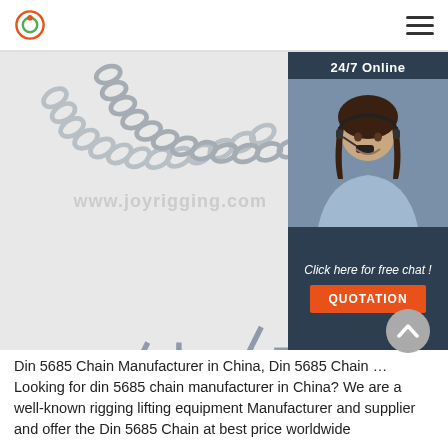Logo | Hamburger menu
[Figure (photo): Metal chains with hooks (Din 5685) on a light gray background, with a watermark overlay reading www.joyrigging.com and a 24/7 online chat widget on the right showing a female customer service representative with headset, a 'Click here for free chat!' prompt, and an orange QUOTATION button]
Din 5685 Chain Manufacturer in China, Din 5685 Chain ... Looking for din 5685 chain manufacturer in China? We are a well-known rigging lifting equipment Manufacturer and supplier and offer the Din 5685 Chain at best price worldwide